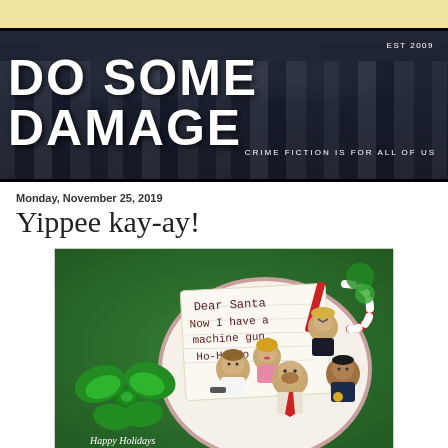[Figure (illustration): Top tan/cream decorative strip]
[Figure (illustration): Blog header banner: dark cityscape background with large white text 'DO SOME DAMAGE', subtitle 'CRIME FICTION IS FOR ALL OF US', and 'EST 2009' in top right corner]
Monday, November 25, 2019
Yippee kay-ay!
[Figure (photo): Die Hard themed holiday image with gingerbread/Lego-style figurines depicting characters from Die Hard around a plate with a note reading 'Dear Santa Now I have a machine gun. Ho-Ho-Ho', with a green bow and candy cane. Text at bottom reads 'Happy Holidays from your friends at']